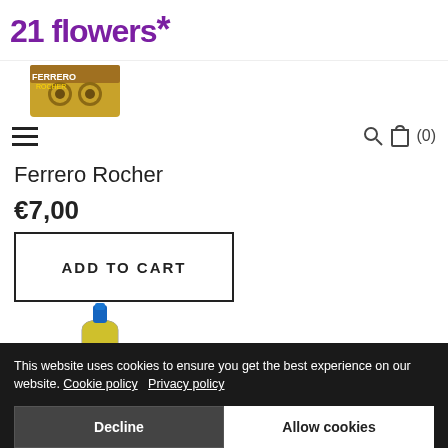[Figure (logo): 21 flowers logo with purple asterisk]
[Figure (photo): Partial image of Ferrero Rocher chocolate box]
[Figure (infographic): Hamburger menu icon (three horizontal bars) on the left, search and bag icons with (0) on the right]
Ferrero Rocher
€7,00
ADD TO CART
[Figure (photo): Wine/prosecco bottle with blue label]
This website uses cookies to ensure you get the best experience on our website. Cookie policy   Privacy policy
Decline
Allow cookies